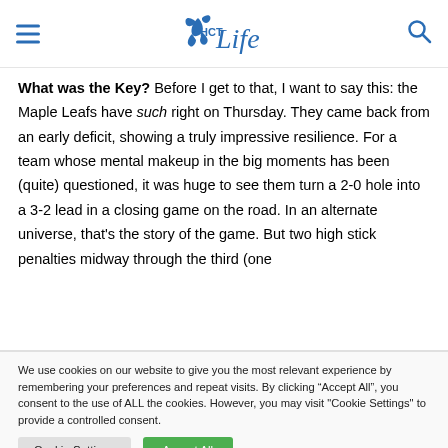HCT Life (logo)
What was the Key? Before I get to that, I want to say this: the Maple Leafs have such right on Thursday. They came back from an early deficit, showing a truly impressive resilience. For a team whose mental makeup in the big moments has been (quite) questioned, it was huge to see them turn a 2-0 hole into a 3-2 lead in a closing game on the road. In an alternate universe, that's the story of the game. But two high stick penalties midway through the third (one
We use cookies on our website to give you the most relevant experience by remembering your preferences and repeat visits. By clicking “Accept All”, you consent to the use of ALL the cookies. However, you may visit "Cookie Settings" to provide a controlled consent.